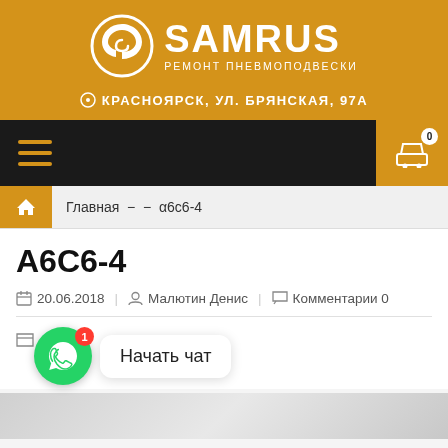[Figure (logo): SAMRUS logo with golden background, circular S icon and text SAMRUS РЕМОНТ ПНЕВМОПОДВЕСКИ and address КРАСНОЯРСК, УЛ. БРЯНСКАЯ, 97А]
[Figure (screenshot): Navigation bar with hamburger menu (dark background) and shopping cart button (golden, badge showing 0)]
Главная − − α6с6-4
А6С6-4
20.06.2018 | Малютин Денис | Комментарии 0
[Figure (screenshot): WhatsApp chat button with green circle, notification badge 1, and chat bubble saying 'Начать чат']
[Figure (photo): Gray/white image strip at bottom, partially visible product image]